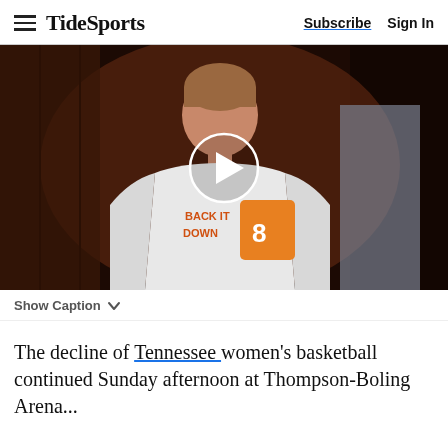TideSports | Subscribe  Sign In
[Figure (photo): Video thumbnail showing a female basketball player wearing a white 'BACK IT DOWN' shirt being interviewed with a microphone, with a play button overlay in the center.]
Show Caption
The decline of Tennessee women's basketball continued Sunday afternoon at Thompson-Boling Arena...